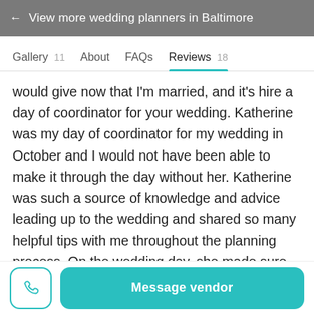← View more wedding planners in Baltimore
Gallery 11   About   FAQs   Reviews 18
would give now that I'm married, and it's hire a day of coordinator for your wedding. Katherine was my day of coordinator for my wedding in October and I would not have been able to make it through the day without her. Katherine was such a source of knowledge and advice leading up to the wedding and shared so many helpful tips with me throughout the planning process. On the wedding day, she made sure everything ran smoothly and people were where they needed to go. I know she handled so much more than what I'm aware of because I was actually able to enjoy my wedding and everyone came to her with any
Message vendor